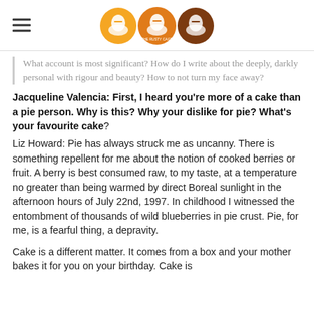[Logo: three wedding cake circles in orange/brown tones]
What account is most significant? How do I write about the deeply, darkly personal with rigour and beauty? How to not turn my face away?
Jacqueline Valencia: First, I heard you're more of a cake than a pie person. Why is this? Why your dislike for pie? What's your favourite cake?
Liz Howard: Pie has always struck me as uncanny. There is something repellent for me about the notion of cooked berries or fruit. A berry is best consumed raw, to my taste, at a temperature no greater than being warmed by direct Boreal sunlight in the afternoon hours of July 22nd, 1997. In childhood I witnessed the entombment of thousands of wild blueberries in pie crust. Pie, for me, is a fearful thing, a depravity.
Cake is a different matter. It comes from a box and your mother bakes it for you on your birthday. Cake is